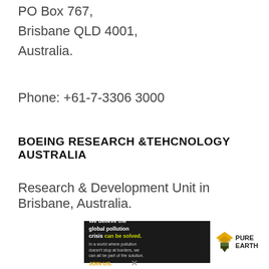PO Box 767,
Brisbane QLD 4001,
Australia.
Phone: +61-7-3306 3000
BOEING RESEARCH &TEHCNOLOGY AUSTRALIA
Research & Development Unit in Brisbane, Australia.
[Figure (infographic): Pure Earth banner ad: black background with white/green text on left reading 'We believe the global pollution crisis can be solved.' with additional text 'In a world where pollution doesn't stop at borders, we can all be part of the solution. JOIN US.' and the Pure Earth logo with diamond/leaf icon on right.]